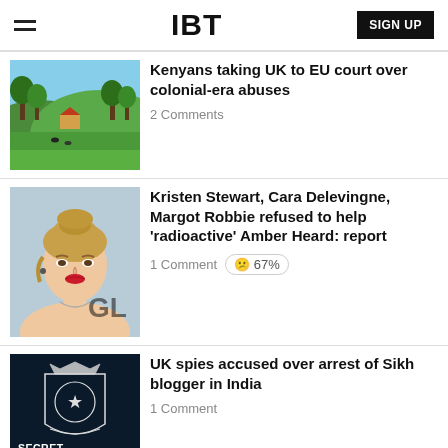IBT | SIGN UP
Kenyans taking UK to EU court over colonial-era abuses
2 Comments
Kristen Stewart, Cara Delevingne, Margot Robbie refused to help 'radioactive' Amber Heard: report
1 Comment 😕 67%
UK spies accused over arrest of Sikh blogger in India
1 Comment
S...